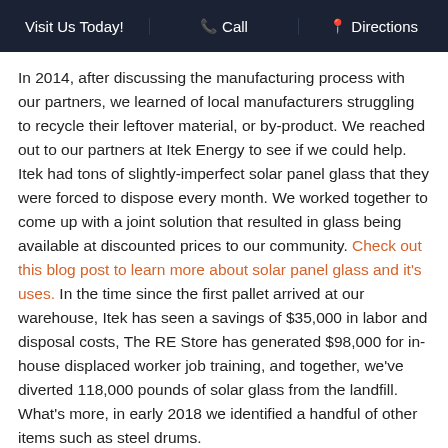Visit Us Today!   Call   Directions
In 2014, after discussing the manufacturing process with our partners, we learned of local manufacturers struggling to recycle their leftover material, or by-product. We reached out to our partners at Itek Energy to see if we could help. Itek had tons of slightly-imperfect solar panel glass that they were forced to dispose every month. We worked together to come up with a joint solution that resulted in glass being available at discounted prices to our community. Check out this blog post to learn more about solar panel glass and it's uses. In the time since the first pallet arrived at our warehouse, Itek has seen a savings of $35,000 in labor and disposal costs, The RE Store has generated $98,000 for in-house displaced worker job training, and together, we've diverted 118,000 pounds of solar glass from the landfill. What's more, in early 2018 we identified a handful of other items such as steel drums.